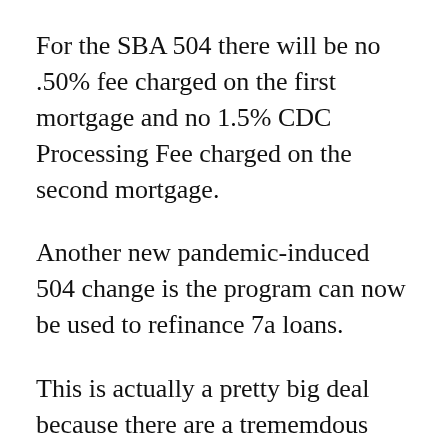For the SBA 504 there will be no .50% fee charged on the first mortgage and no 1.5% CDC Processing Fee charged on the second mortgage.
Another new pandemic-induced 504 change is the program can now be used to refinance 7a loans.
This is actually a pretty big deal because there are a trememdous number of borrowers who have 7a loans that have rates that are NOT fixed and the 504 program is one of the few commercial real estate loan programs available where you can get a long term fixed